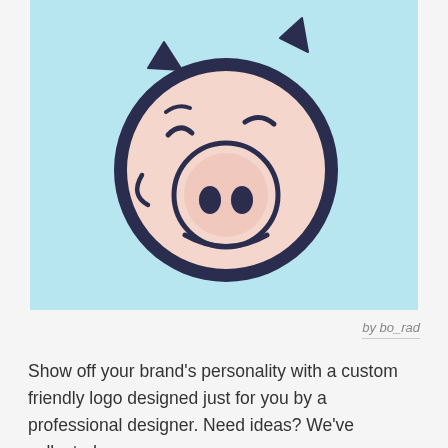[Figure (illustration): Cute cartoon pig face logo with dark navy outline on light blue background. The pig has a round face, small ears on top, a large round snout with two oval nostrils, closed smiling eyes, and eyebrow. Style is friendly and minimalist.]
by bo_rad
Show off your brand’s personality with a custom friendly logo designed just for you by a professional designer. Need ideas? We’ve collected some